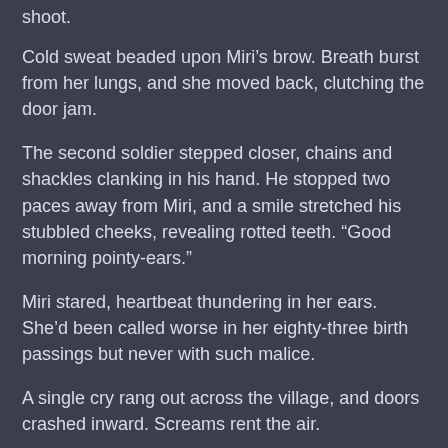shoot.
Cold sweat beaded upon Miri’s brow. Breath burst from her lungs, and she moved back, clutching the door jam.
The second soldier stepped closer, chains and shackles clanking in his hand. He stopped two paces away from Miri, and a smile stretched his stubbled cheeks, revealing rotted teeth. “Good morning pointy-ears.”
Miri stared, heartbeat thundering in her ears. She’d been called worse in her eighty-three birth passings but never with such malice.
A single cry rang out across the village, and doors crashed inward. Screams rent the air.
“Don’t fight Native woman,” rotten-teeth sneered, shackles outstretched.